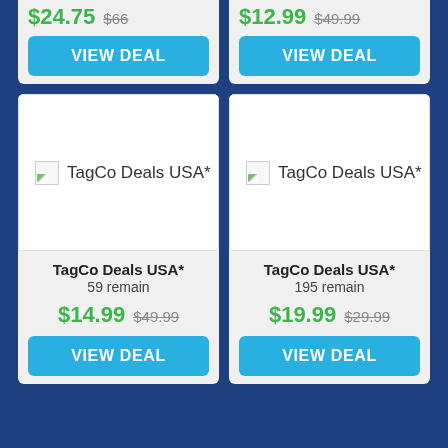$24.75  $66
VIEW DEAL
$12.99  $49.99
VIEW DEAL
[Figure (screenshot): Product image placeholder showing broken image icon and text 'TagCo Deals USA*']
TagCo Deals USA*
59 remain
$14.99  $49.99
VIEW DEAL
[Figure (screenshot): Product image placeholder showing broken image icon and text 'TagCo Deals USA*']
TagCo Deals USA*
195 remain
$19.99  $29.99
VIEW DEAL